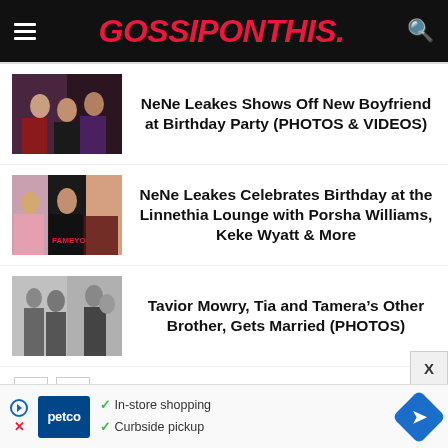GOSSIPONTHIS.
NeNe Leakes Shows Off New Boyfriend at Birthday Party (PHOTOS & VIDEOS)
NeNe Leakes Celebrates Birthday at the Linnethia Lounge with Porsha Williams, Keke Wyatt & More
Tavior Mowry, Tia and Tamera's Other Brother, Gets Married (PHOTOS)
< >
In-store shopping
Curbside pickup